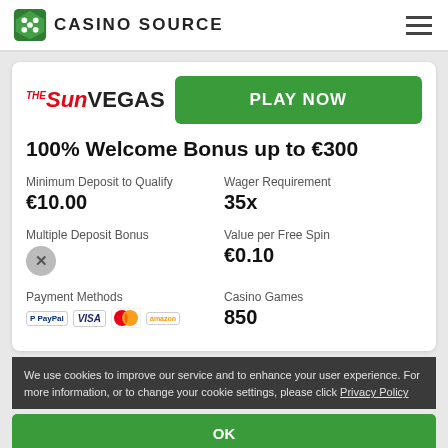Casino Source
[Figure (logo): Casino Source logo with green dice icon and text CASINO SOURCE]
100% Welcome Bonus up to €300
| Field | Value |
| --- | --- |
| Minimum Deposit to Qualify | €10.00 |
| Wager Requirement | 35x |
| Multiple Deposit Bonus | ✗ |
| Value per Free Spin | €0.10 |
| Payment Methods | PayPal, VISA, Mastercard, Amazon |
| Casino Games | 850 |
We use cookies to improve our service and to enhance your user experience. For more information, or to change your cookie settings, please click Privacy Policy
OK